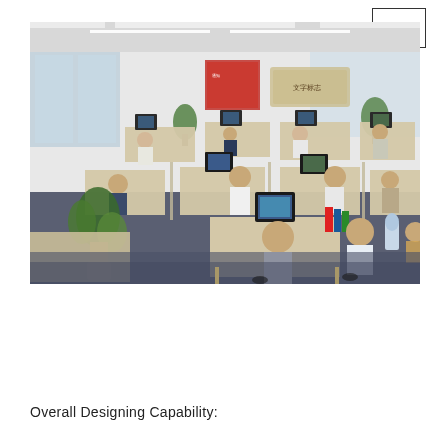[Figure (logo): CN logo in a rectangle box, top right corner]
[Figure (photo): Office interior photo showing multiple employees working at computer workstations in an open-plan office environment. Beige/tan colored desks arranged in clusters, multiple computer monitors visible, plants scattered throughout, white walls with a Chinese calligraphy wall sign in the background, blue carpet floor.]
Overall Designing Capability: